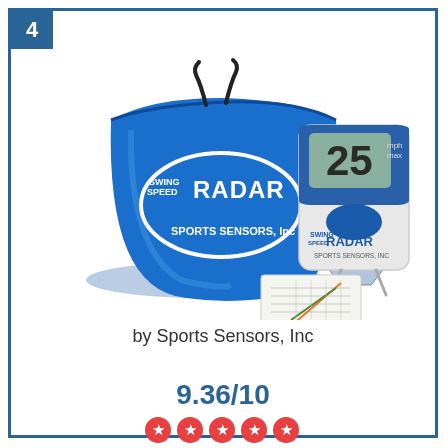4
[Figure (photo): Product photo showing a blue drawstring bag labeled 'Swing Speed Radar Sports Sensors Inc', a white and blue electronic radar device displaying '25' on its screen, and a reference card/chart.]
by Sports Sensors, Inc
9.36/10
[Figure (other): Five red star rating icons]